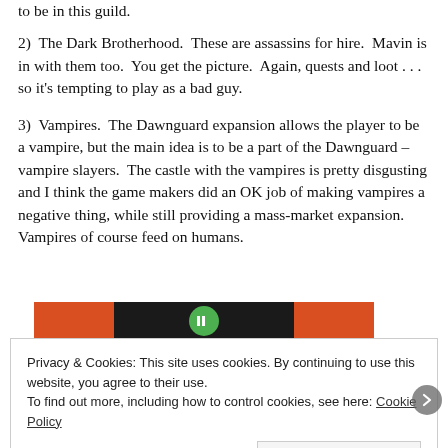to be in this guild.
2)  The Dark Brotherhood.  These are assassins for hire.  Mavin is in with them too.  You get the picture.  Again, quests and loot . . . so it's tempting to play as a bad guy.
3)  Vampires.  The Dawnguard expansion allows the player to be a vampire, but the main idea is to be a part of the Dawnguard – vampire slayers.  The castle with the vampires is pretty disgusting and I think the game makers did an OK job of making vampires a negative thing, while still providing a mass-market expansion.  Vampires of course feed on humans.
[Figure (screenshot): Partial image of a game banner or header with orange and black coloring and a green icon in the center.]
Privacy & Cookies: This site uses cookies. By continuing to use this website, you agree to their use.
To find out more, including how to control cookies, see here: Cookie Policy
Close and accept